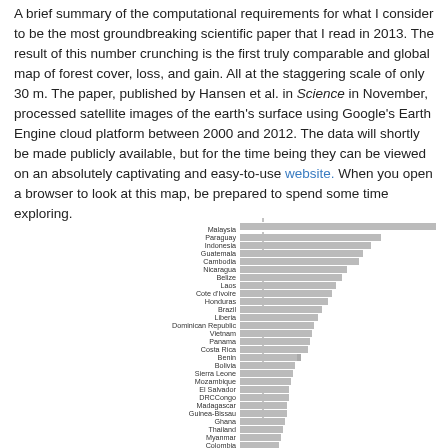A brief summary of the computational requirements for what I consider to be the most groundbreaking scientific paper that I read in 2013. The result of this number crunching is the first truly comparable and global map of forest cover, loss, and gain. All at the staggering scale of only 30 m. The paper, published by Hansen et al. in Science in November, processed satellite images of the earth's surface using Google's Earth Engine cloud platform between 2000 and 2012. The data will shortly be made publicly available, but for the time being they can be viewed on an absolutely captivating and easy-to-use website. When you open a browser to look at this map, be prepared to spend some time exploring.
[Figure (bar-chart): ]